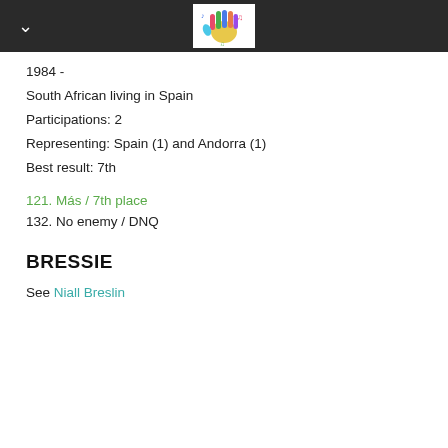Eurovision Song Contest database
1984 -
South African living in Spain
Participations: 2
Representing: Spain (1) and Andorra (1)
Best result: 7th
121. Más / 7th place
132. No enemy / DNQ
BRESSIE
See Niall Breslin